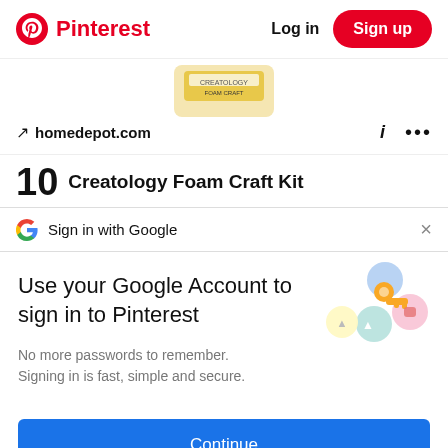Pinterest  Log in  Sign up
[Figure (photo): Partial view of a product (jar with yellow label) from homedepot.com]
↗ homedepot.com
10  Creatology Foam Craft Kit
G  Sign in with Google  ×
Use your Google Account to sign in to Pinterest
No more passwords to remember. Signing in is fast, simple and secure.
[Figure (illustration): Google key illustration with colorful circles]
Continue